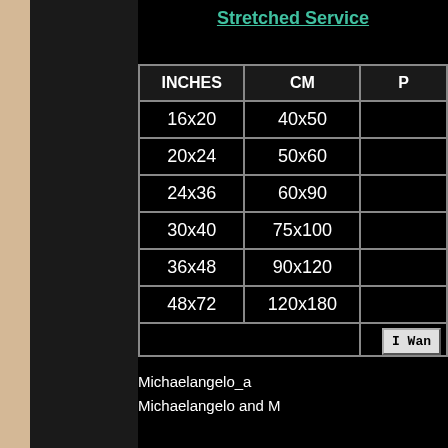Stretched Service
| INCHES | CM | P |
| --- | --- | --- |
| 16x20 | 40x50 |  |
| 20x24 | 50x60 |  |
| 24x36 | 60x90 |  |
| 30x40 | 75x100 |  |
| 36x48 | 90x120 |  |
| 48x72 | 120x180 |  |
|  |  | I Wan |
Michaelangelo_a Michaelangelo and M
[Figure (photo): Partial photo visible at bottom right, dark background image in a gray frame]